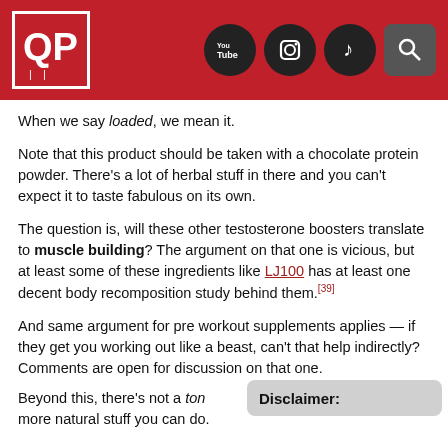Header with logo and social icons
When we say loaded, we mean it.
Note that this product should be taken with a chocolate protein powder. There's a lot of herbal stuff in there and you can't expect it to taste fabulous on its own.
The question is, will these other testosterone boosters translate to muscle building? The argument on that one is vicious, but at least some of these ingredients like LJ100 has at least one decent body recomposition study behind them.[39]
And same argument for pre workout supplements applies — if they get you working out like a beast, can't that help indirectly? Comments are open for discussion on that one.
Beyond this, there's not a ton more natural stuff you can do.
Disclaimer: